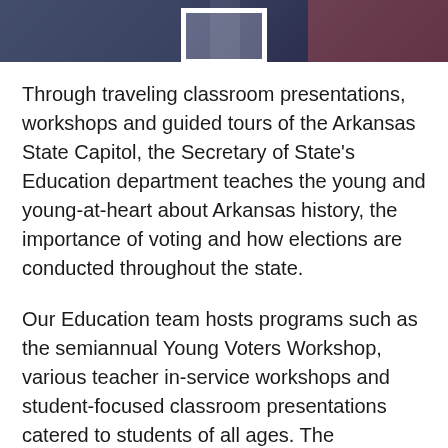[Figure (photo): A cropped photo strip at the top of the page showing people, partially visible. A white picture frame is visible in the center of the image.]
Through traveling classroom presentations, workshops and guided tours of the Arkansas State Capitol, the Secretary of State's Education department teaches the young and young-at-heart about Arkansas history, the importance of voting and how elections are conducted throughout the state.
Our Education team hosts programs such as the semiannual Young Voters Workshop, various teacher in-service workshops and student-focused classroom presentations catered to students of all ages. The Education department staff will travel to most any location in Arkansas!
The department also provides guided tours of the...